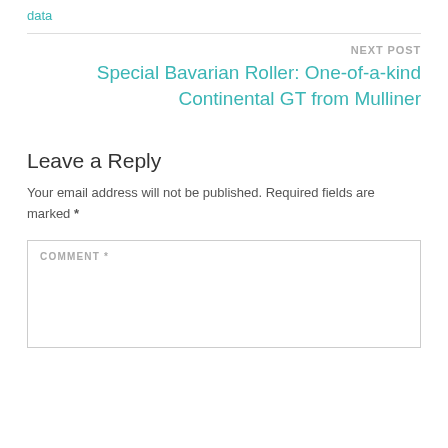data
NEXT POST
Special Bavarian Roller: One-of-a-kind Continental GT from Mulliner
Leave a Reply
Your email address will not be published. Required fields are marked *
COMMENT *